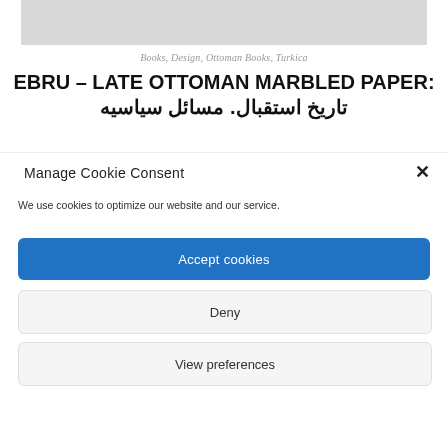[Figure (photo): Gray rectangular image placeholder at top of page]
Books, Design, Ottoman Books, Turkica
EBRU – LATE OTTOMAN MARBLED PAPER: تاریخ استقبال. مسائل سیاسیه
Manage Cookie Consent
We use cookies to optimize our website and our service.
Accept cookies
Deny
View preferences